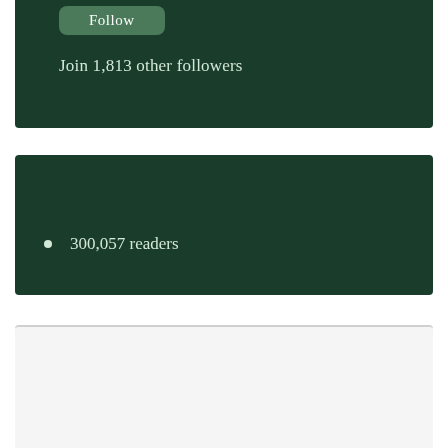Follow
Join 1,813 other followers
300,057 readers
[Figure (other): Empty light gray card section at the bottom]